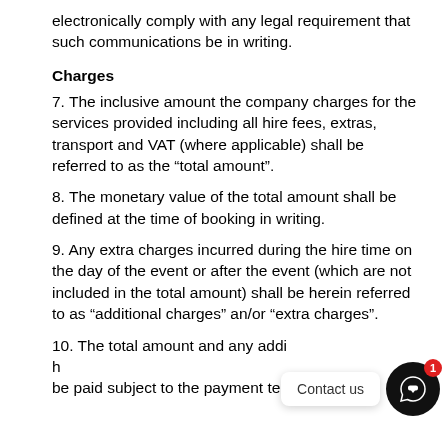electronically comply with any legal requirement that such communications be in writing.
Charges
7. The inclusive amount the company charges for the services provided including all hire fees, extras, transport and VAT (where applicable) shall be referred to as the “total amount”.
8. The monetary value of the total amount shall be defined at the time of booking in writing.
9. Any extra charges incurred during the hire time on the day of the event or after the event (which are not included in the total amount) shall be herein referred to as “additional charges” an/or “extra charges”.
10. The total amount and any additional charges shall be paid subject to the payment terms.